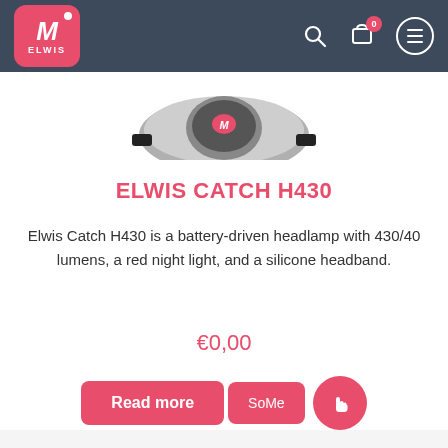[Figure (screenshot): Elwis website navigation bar with logo (pink M° ELWIS on dark background), search icon, cart icon with 0 badge, and hamburger menu in circle]
[Figure (photo): Partial view of Elwis Catch H430 headlamp product image (bottom portion visible)]
ELWIS CATCH H430
Elwis Catch H430 is a battery-driven headlamp with 430/40 lumens, a red night light, and a silicone headband.
€0,00
[Figure (other): Buttons row: 'Read more' pink button, 'SoMe' pink button, and pink circle button with cursor/pointer icon]